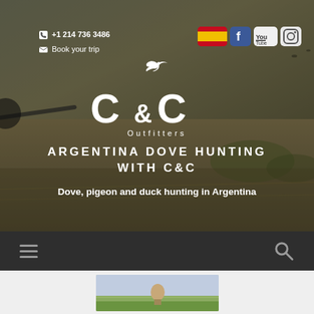[Figure (screenshot): Hero banner with hunting background image — person aiming shotgun in Argentine fields, olive/khaki toned]
+1 214 736 3486
Book your trip
[Figure (logo): C&C Outfitters logo with bird silhouette above the ampersand]
ARGENTINA DOVE HUNTING WITH C&C
Dove, pigeon and duck hunting in Argentina
[Figure (infographic): Dark navigation bar with hamburger menu icon on left and search icon on right]
[Figure (photo): Partial photo preview showing green field landscape with person]